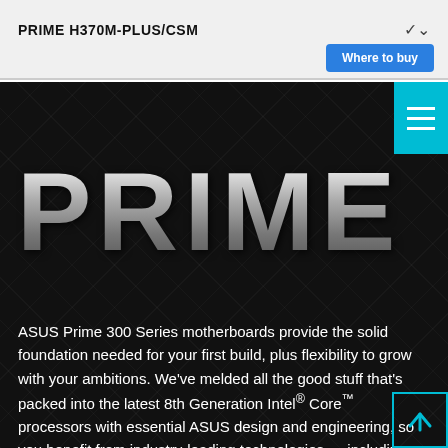PRIME H370M-PLUS/CSM
Where to buy
[Figure (logo): ASUS PRIME logo in large metallic silver lettering on dark background with circuit-board pattern]
ASUS Prime 300 Series motherboards provide the solid foundation needed for your first build, plus flexibility to grow with your ambitions. We've melded all the good stuff that's packed into the latest 8th Generation Intel® Core™ processors with essential ASUS design and engineering, so you benefit from industry-leading technologies — including automated system tuning, comprehensive cooling controls, and immersive onboard audio. When you build with an ASUS Prime 300 Series